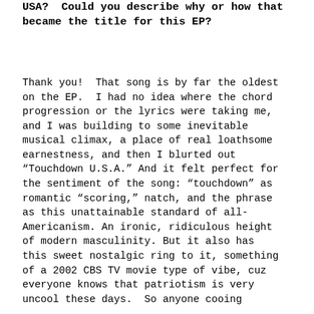USA? Could you describe why or how that became the title for this EP?
Thank you! That song is by far the oldest on the EP. I had no idea where the chord progression or the lyrics were taking me, and I was building to some inevitable musical climax, a place of real loathsome earnestness, and then I blurted out “Touchdown U.S.A.” And it felt perfect for the sentiment of the song: “touchdown” as romantic “scoring,” natch, and the phrase as this unattainable standard of all-Americanism. An ironic, ridiculous height of modern masculinity. But it also has this sweet nostalgic ring to it, something of a 2002 CBS TV movie type of vibe, cuz everyone knows that patriotism is very uncool these days. So anyone cooing